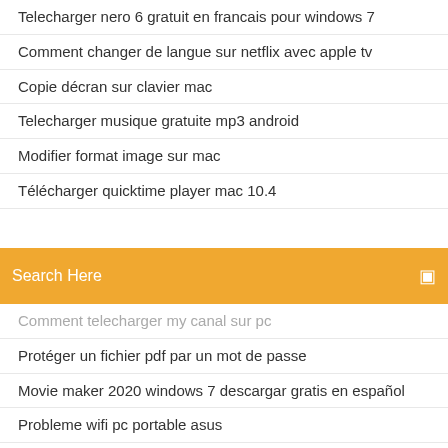Telecharger nero 6 gratuit en francais pour windows 7
Comment changer de langue sur netflix avec apple tv
Copie décran sur clavier mac
Telecharger musique gratuite mp3 android
Modifier format image sur mac
Télécharger quicktime player mac 10.4
[Figure (other): Orange search bar with 'Search Here' placeholder text and a search icon]
Comment telecharger my canal sur pc
Protéger un fichier pdf par un mot de passe
Movie maker 2020 windows 7 descargar gratis en español
Probleme wifi pc portable asus
Candy crush jelly saga gratuit pour pc
Retrouver clé licence windows 7
Usb drive file recovery crack
Comment installer scrap mechanic gratuitement sur pc
Need for speed shift 2 unleashed system requirements
Android emulator for windows 10 free
How to pair a bluetooth device on windows 7